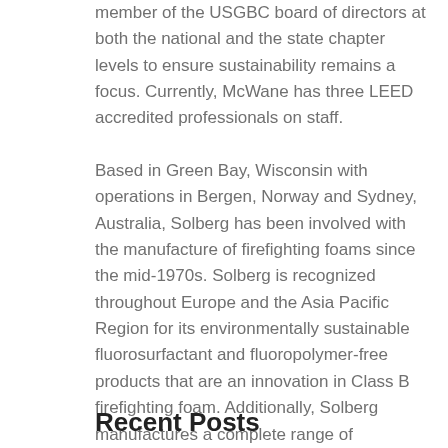member of the USGBC board of directors at both the national and the state chapter levels to ensure sustainability remains a focus. Currently, McWane has three LEED accredited professionals on staff.
Based in Green Bay, Wisconsin with operations in Bergen, Norway and Sydney, Australia, Solberg has been involved with the manufacture of firefighting foams since the mid-1970s. Solberg is recognized throughout Europe and the Asia Pacific Region for its environmentally sustainable fluorosurfactant and fluoropolymer-free products that are an innovation in Class B firefighting foam. Additionally, Solberg manufactures a complete range of traditional foam concentrates, Class A and High-Expansion foam concentrates including foam systems hardware. Solberg's unique technology is preferred by customers in the aviation, chemical, energy, fire services, oil and gas, petrochemical, pharmaceutical, solvent & coatings markets.
Recent Posts